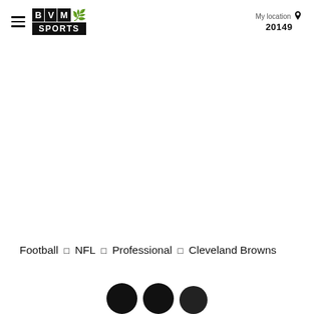BVM SPORTS — My location 20149
Football □ NFL □ Professional □ Cleveland Browns